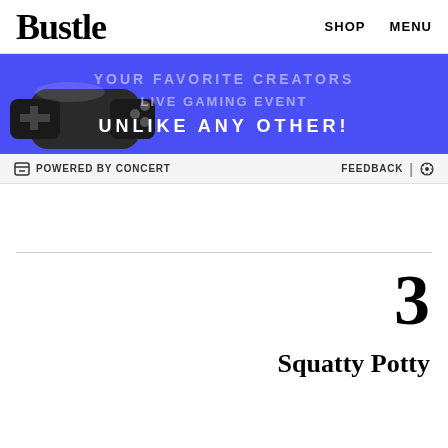Bustle   SHOP   MENU
[Figure (other): Advertisement banner with blue background showing a gaming controller image on the left and text: 'YOUR FAVORITE CREATORS', 'LIVE GAMING EVENT', 'UNLIKE ANY OTHER!']
POWERED BY CONCERT   FEEDBACK | ⚙
3
Squatty Potty